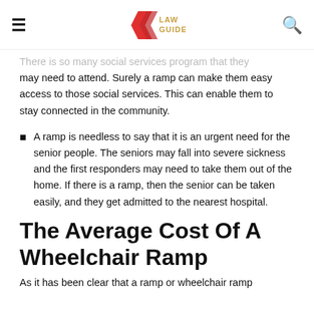LAW GUIDELINE
There is so many social services program that they may need to attend. Surely a ramp can make them easy access to those social services. This can enable them to stay connected in the community.
A ramp is needless to say that it is an urgent need for the senior people. The seniors may fall into severe sickness and the first responders may need to take them out of the home. If there is a ramp, then the senior can be taken easily, and they get admitted to the nearest hospital.
The Average Cost Of A Wheelchair Ramp
As it has been clear that a ramp or wheelchair ramp